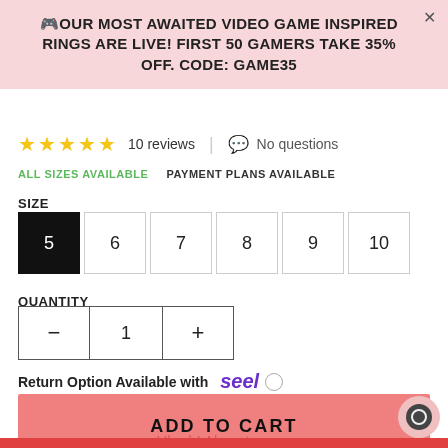🎮OUR MOST AWAITED VIDEO GAME INSPIRED RINGS ARE LIVE! FIRST 50 GAMERS TAKE 35% OFF. CODE: GAME35
★★★★★ 10 reviews | No questions
ALL SIZES AVAILABLE    PAYMENT PLANS AVAILABLE
SIZE
5 6 7 8 9 10
QUANTITY
— 1 +
Return Option Available with seel ○
ADD TO CART
Uh oh! Almost gone.